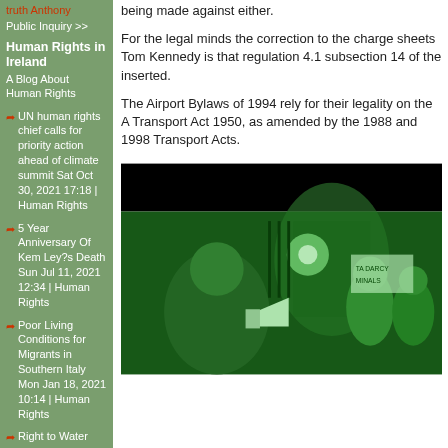truth Anthony
Public Inquiry >>
Human Rights in Ireland
A Blog About Human Rights
UN human rights chief calls for priority action ahead of climate summit Sat Oct 30, 2021 17:18 | Human Rights
5 Year Anniversary Of Kem Ley?s Death Sun Jul 11, 2021 12:34 | Human Rights
Poor Living Conditions for Migrants in Southern Italy Mon Jan 18, 2021 10:14 | Human Rights
being made against either.
For the legal minds the correction to the charge sheets Tom Kennedy is that regulation 4.1 subsection 14 of the inserted.
The Airport Bylaws of 1994 rely for their legality on the A Transport Act 1950, as amended by the 1988 and 1998 Transport Acts.
[Figure (photo): Green-tinted night photo of a protest scene. A person in the foreground holds a megaphone/bullhorn. Behind them are protesters holding signs, one of which appears to read 'TA DARCY MINALS'. The scene is outside a building with iron railings, illuminated at night.]